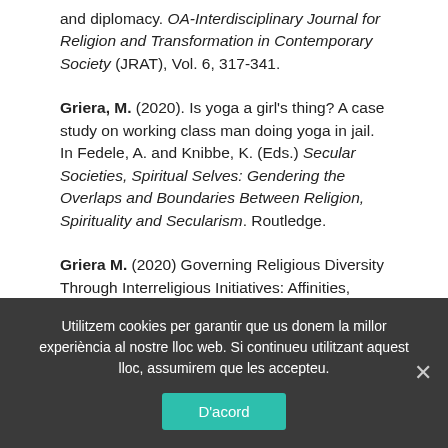and diplomacy. OA-Interdisciplinary Journal for Religion and Transformation in Contemporary Society (JRAT), Vol. 6, 317-341.
Griera, M. (2020). Is yoga a girl's thing? A case study on working class man doing yoga in jail. In Fedele, A. and Knibbe, K. (Eds.) Secular Societies, Spiritual Selves: Gendering the Overlaps and Boundaries Between Religion, Spirituality and Secularism. Routledge.
Griera M. (2020) Governing Religious Diversity Through Interreligious Initiatives: Affinities, Ambiguities and Tensions. In: Körs A., Weisse W., Willaime JP (eds)
Utilitzem cookies per garantir que us donem la millor experiència al nostre lloc web. Si continueu utilitzant aquest lloc, assumirem que les accepteu.